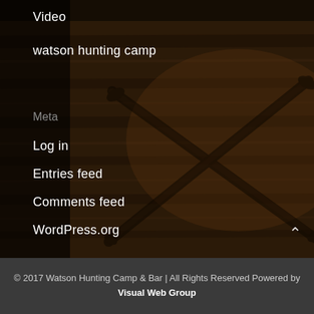Video
watson hunting camp
Meta
Log in
Entries feed
Comments feed
WordPress.org
[Figure (illustration): Dark wood plank background with crossed rifles silhouette in the center]
© 2017 Watson Hunting Camp & Bar | All Rights Reserved Powered by Visual Web Group